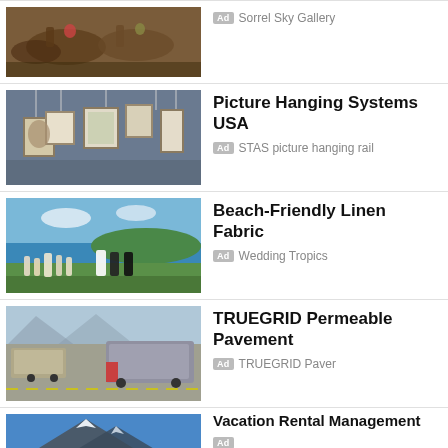[Figure (photo): Horses racing, partial view of top ad]
Ad  Sorrel Sky Gallery
[Figure (photo): Art gallery wall with framed pictures hanging]
Picture Hanging Systems USA
Ad  STAS picture hanging rail
[Figure (photo): Wedding party at beach/lakeside]
Beach-Friendly Linen Fabric
Ad  Wedding Tropics
[Figure (photo): RVs and trucks in a parking lot]
TRUEGRID Permeable Pavement
Ad  TRUEGRID Paver
[Figure (photo): Mountain landscape with blue sky]
Vacation Rental Management
Ad